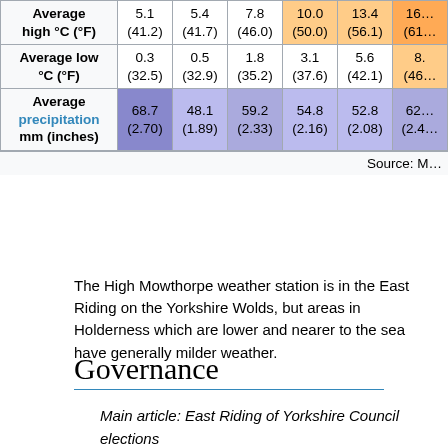|  | Jan | Feb | Mar | Apr | May | Jun (partial) |
| --- | --- | --- | --- | --- | --- | --- |
| Average high °C (°F) | 5.1 (41.2) | 5.4 (41.7) | 7.8 (46.0) | 10.0 (50.0) | 13.4 (56.1) | 16... (61... |
| Average low °C (°F) | 0.3 (32.5) | 0.5 (32.9) | 1.8 (35.2) | 3.1 (37.6) | 5.6 (42.1) | 8... (46... |
| Average precipitation mm (inches) | 68.7 (2.70) | 48.1 (1.89) | 59.2 (2.33) | 54.8 (2.16) | 52.8 (2.08) | 62... (2.4... |
Source: M...
The High Mowthorpe weather station is in the East Riding on the Yorkshire Wolds, but areas in Holderness which are lower and nearer to the sea have generally milder weather.
Governance
Main article: East Riding of Yorkshire Council elections